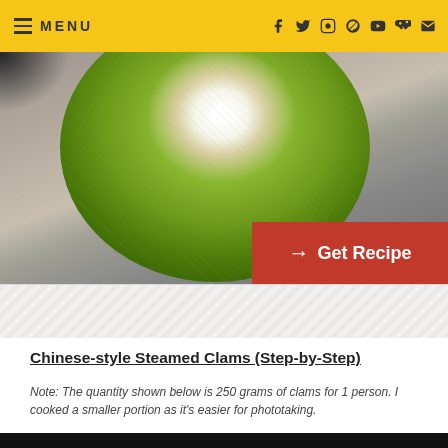MENU (navigation bar with social icons: Facebook, Twitter, Instagram, Pinterest, YouTube, RSS, Email)
[Figure (photo): Food photo showing a green bowl with soup/dish on a textured fabric background, partially cropped. Red button overlay reading '→ Get Recipe']
[Figure (photo): Striped advertisement/banner placeholder strip]
Chinese-style Steamed Clams (Step-by-Step)
Note: The quantity shown below is 250 grams of clams for 1 person. I cooked a smaller portion as it's easier for phototaking.
[Figure (photo): Step-by-step cooking photo showing chopped red chilies, garlic, and ginger/julienned ingredients on a dark pan/surface. Colorful logo watermark visible in top right corner.]